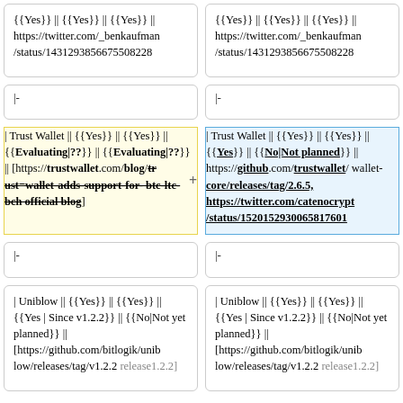{{Yes}} || {{Yes}} || {{Yes}} || https://twitter.com/_benkaufman/status/1431293856675508228
{{Yes}} || {{Yes}} || {{Yes}} || https://twitter.com/_benkaufman/status/1431293856675508228
|-
|-
| Trust Wallet || {{Yes}} || {{Yes}} || {{Evaluating|??}} || {{Evaluating|??}} || [https://trustwallet.com/blog/trust-wallet-adds-support-for-btc-ltc-bch official blog]
| Trust Wallet || {{Yes}} || {{Yes}} || {{Yes}} || {{No|Not planned}} || https://github.com/trustwallet/wallet-core/releases/tag/2.6.5, https://twitter.com/catenocrypt/status/1520152930065817601
|-
|-
| Uniblow || {{Yes}} || {{Yes}} || {{Yes | Since v1.2.2}} || {{No|Not yet planned}} || [https://github.com/bitlogik/uniblow/releases/tag/v1.2.2 release1.2.2]
| Uniblow || {{Yes}} || {{Yes}} || {{Yes | Since v1.2.2}} || {{No|Not yet planned}} || [https://github.com/bitlogik/uniblow/releases/tag/v1.2.2 release1.2.2]